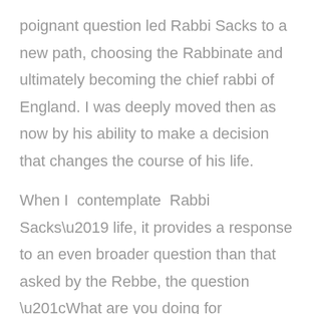poignant question led Rabbi Sacks to a new path, choosing the Rabbinate and ultimately becoming the chief rabbi of England. I was deeply moved then as now by his ability to make a decision that changes the course of his life.

When I contemplate Rabbi Sacks' life, it provides a response to an even broader question than that asked by the Rebbe, the question “What are you doing for Humanity”?”At the heart of Rabbi Sacks’ teachings is that religion must bring blessing to the world, a vision in accord with the role given by the Torah to our biblical